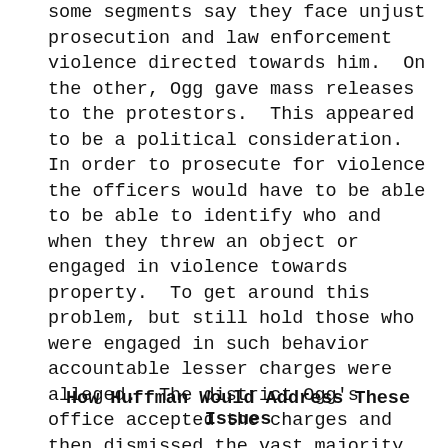some segments say they face unjust prosecution and law enforcement violence directed towards him.  On the other, Ogg gave mass releases to the protestors.  This appeared to be a political consideration.  In order to prosecute for violence the officers would have to be able to be able to identify who and when they threw an object or engaged in violence towards property.  To get around this problem, but still hold those who were engaged in such behavior accountable lesser charges were alleged.  The district Ogg's office accepted the charges and then dismissed the vast majority.  This isn't to say that no instances of law enforcement misconduct occur, but it is not reason to allow mass unrest like we saw with Floyd.
How Huffman Would Address These Issues